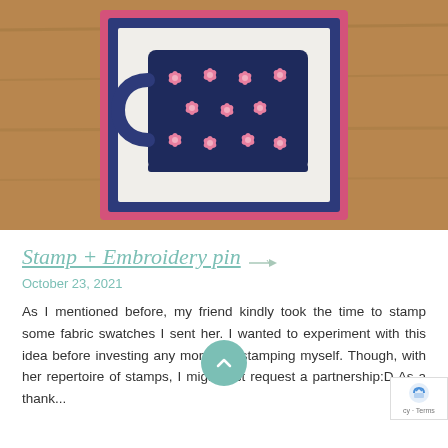[Figure (photo): Photo of an embroidered mug pin/patch on a wooden surface. The mug has a dark navy background with pink embroidered flowers. The patch has a white fabric center with pink and navy felt border trim.]
Stamp + Embroidery pin
October 23, 2021
As I mentioned before, my friend kindly took the time to stamp some fabric swatches I sent her. I wanted to experiment with this idea before investing any money in stamping myself. Though, with her repertoire of stamps, I might just request a partnership:D As a thank...